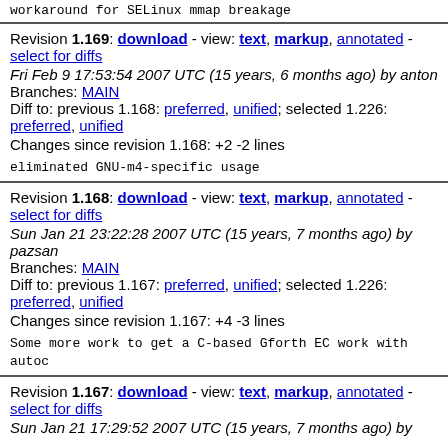workaround for SELinux mmap breakage
Revision 1.169: download - view: text, markup, annotated - select for diffs
Fri Feb 9 17:53:54 2007 UTC (15 years, 6 months ago) by anton
Branches: MAIN
Diff to: previous 1.168: preferred, unified; selected 1.226: preferred, unified
Changes since revision 1.168: +2 -2 lines
eliminated GNU-m4-specific usage
Revision 1.168: download - view: text, markup, annotated - select for diffs
Sun Jan 21 23:22:28 2007 UTC (15 years, 7 months ago) by pazsan
Branches: MAIN
Diff to: previous 1.167: preferred, unified; selected 1.226: preferred, unified
Changes since revision 1.167: +4 -3 lines
Some more work to get a C-based Gforth EC work with autoc
Revision 1.167: download - view: text, markup, annotated - select for diffs
Sun Jan 21 17:29:52 2007 UTC (15 years, 7 months ago) by